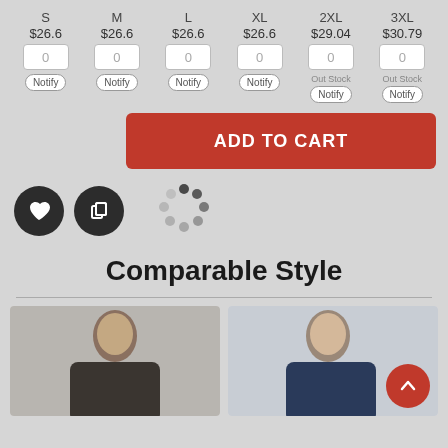| S | M | L | XL | 2XL | 3XL |
| --- | --- | --- | --- | --- | --- |
| $26.6 | $26.6 | $26.6 | $26.6 | $29.04 | $30.79 |
| 0 | 0 | 0 | 0 | 0 | 0 |
| Notify | Notify | Notify | Notify | Out Stock / Notify | Out Stock / Notify |
[Figure (screenshot): ADD TO CART red button]
[Figure (screenshot): Heart/wishlist icon circle and copy icon circle and spinner/loading dots icon]
Comparable Style
[Figure (photo): Man wearing dark grey crewneck sweatshirt]
[Figure (photo): Man wearing navy blue crewneck sweatshirt, with red back-to-top arrow button overlay]